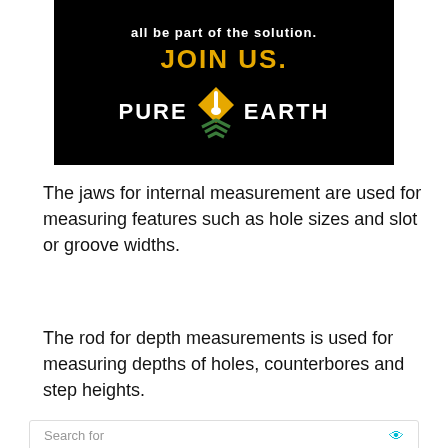[Figure (logo): Pure Earth advertisement banner with black background. Text reads 'all be part of the solution.' and 'JOIN US.' in gold/yellow, with the Pure Earth logo (white diamond shape with shovel icon and green layered chevrons below) and white bold text 'PURE EARTH'.]
The jaws for internal measurement are used for measuring features such as hole sizes and slot or groove widths.
The rod for depth measurements is used for measuring depths of holes, counterbores and step heights.
[Figure (screenshot): Yahoo Search sponsored search results widget. Shows 'Search for' label with eye icon. Item 1: ELIMINATE MOSQUITOES FROM with arrow. Item 2: BEST CLOUD BASED STORAGE with arrow. Footer: Yahoo! Search | Sponsored with small icon.]